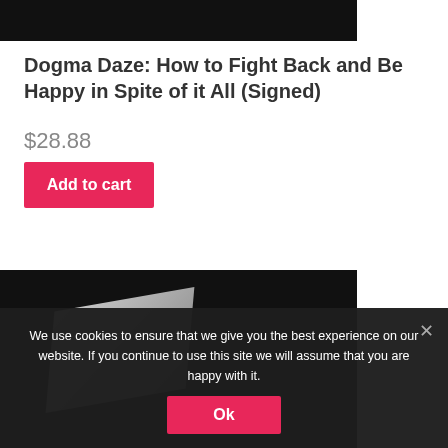[Figure (photo): Top portion of a dark/black product image, partially cropped]
Dogma Daze: How to Fight Back and Be Happy in Spite of it All (Signed)
$28.88
Add to cart
[Figure (photo): Book product photo on dark background showing a white/light colored book]
We use cookies to ensure that we give you the best experience on our website. If you continue to use this site we will assume that you are happy with it.
Ok